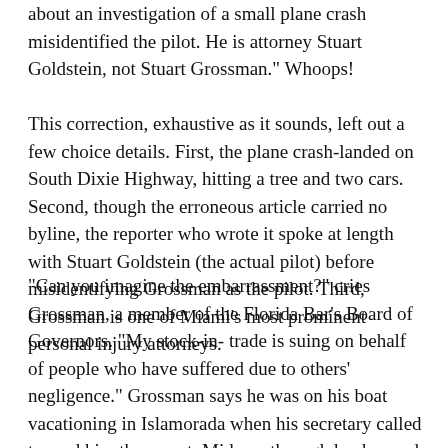about an investigation of a small plane crash misidentified the pilot. He is attorney Stuart Goldstein, not Stuart Grossman." Whoops!
This correction, exhaustive as it sounds, left out a few choice details. First, the plane crash-landed on South Dixie Highway, hitting a tree and two cars. Second, though the erroneous article carried no byline, the reporter who wrote it spoke at length with Stuart Goldstein (the actual pilot) before misidentifying Grossman as the pilot. Third, Grossman is one of Miami's most prominent personal injury attorneys.
"Can you imagine the embarrassment?" cries Grossman, a member of the Florida Bar's Board of Governors. "My stock-in- trade is suing on behalf of people who have suffered due to others' negligence." Grossman says he was on his boat vacationing in Islamorada when his secretary called to read him the report. Midway through he dropped the phone in disbelief. He has since endured